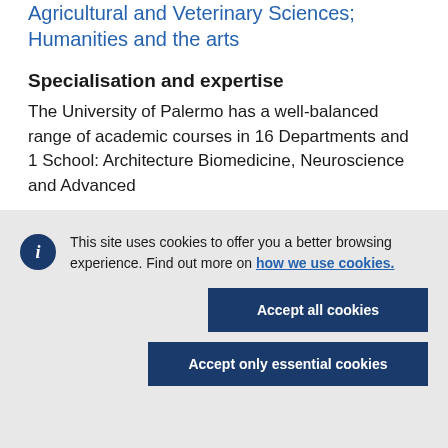Agricultural and Veterinary Sciences; Humanities and the arts
Specialisation and expertise
The University of Palermo has a well-balanced range of academic courses in 16 Departments and 1 School: Architecture Biomedicine, Neuroscience and Advanced
This site uses cookies to offer you a better browsing experience. Find out more on how we use cookies.
Accept all cookies
Accept only essential cookies